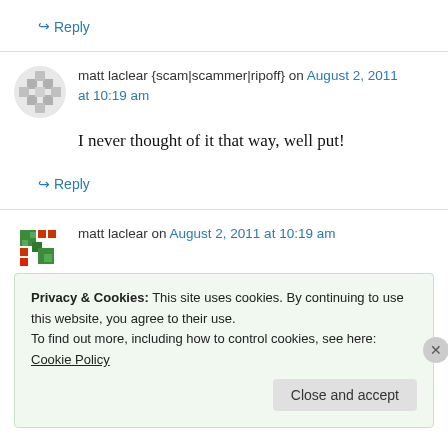↪ Reply
matt laclear {scam|scammer|ripoff} on August 2, 2011 at 10:19 am
I never thought of it that way, well put!
↪ Reply
matt laclear on August 2, 2011 at 10:19 am
Privacy & Cookies: This site uses cookies. By continuing to use this website, you agree to their use.
To find out more, including how to control cookies, see here: Cookie Policy
Close and accept